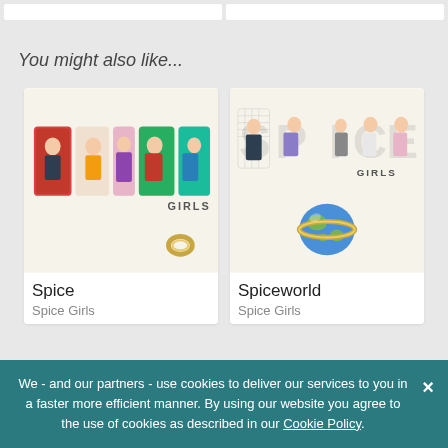You might also like...
[Figure (photo): Album cover for 'Spice' by Spice Girls - colorful logo with band members' photos inside letters]
Spice
Spice Girls
[Figure (photo): Album cover for 'Spiceworld' by Spice Girls - grid-style logo with band members and globe]
Spiceworld
Spice Girls
We - and our partners - use cookies to deliver our services to you in a faster more efficient manner. By using our website you agree to the use of cookies as described in our Cookie Policy.